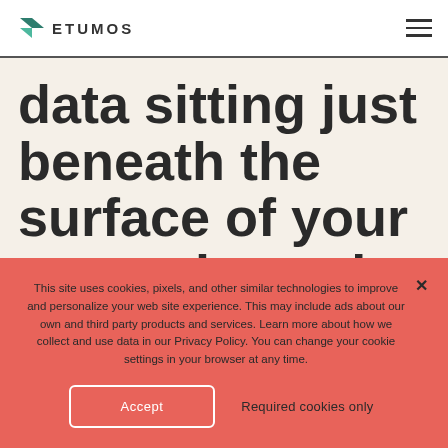ETUMOS
data sitting just beneath the surface of your martech stack
This site uses cookies, pixels, and other similar technologies to improve and personalize your web site experience. This may include ads about our own and third party products and services. Learn more about how we collect and use data in our Privacy Policy. You can change your cookie settings in your browser at any time.